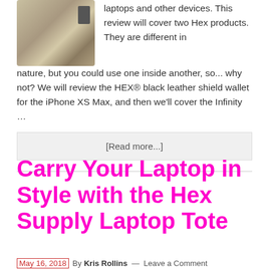[Figure (photo): Photo of a tan/beige Hex laptop bag or tote on the left side of the page]
laptops and other devices. This review will cover two Hex products. They are different in nature, but you could use one inside another, so... why not? We will review the HEX® black leather shield wallet for the iPhone XS Max, and then we'll cover the Infinity …
[Read more...]
Carry Your Laptop in Style with the Hex Supply Laptop Tote
May 16, 2018 By Kris Rollins — Leave a Comment